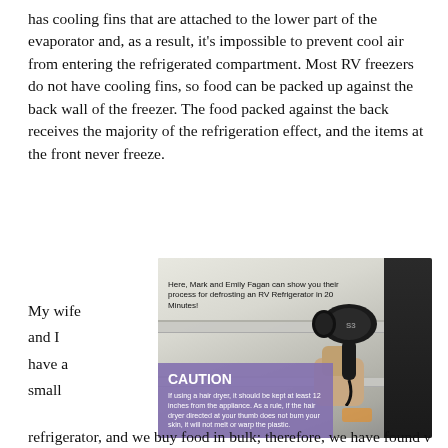has cooling fins that are attached to the lower part of the evaporator and, as a result, it's impossible to prevent cool air from entering the refrigerated compartment. Most RV freezers do not have cooling fins, so food can be packed up against the back wall of the freezer. The food packed against the back receives the majority of the refrigeration effect, and the items at the front never freeze.
My wife and I have a small
[Figure (photo): Interior of an RV refrigerator with a hand holding a hair dryer (S3 brand) near the shelves. A purple caution box overlay reads: 'CAUTION: If using a hair dryer, it should be kept at least 12 inches from the appliance. As a rule, if the hair dryer directed at your thumb does not burn your skin, it will not melt or warp the plastic.' A caption at top reads: 'Here, Mark and Emily Fagan can show you their process for defrosting an RV Refrigerator in 20 Minutes!']
refrigerator, and we buy food in bulk; therefore, we have found ways